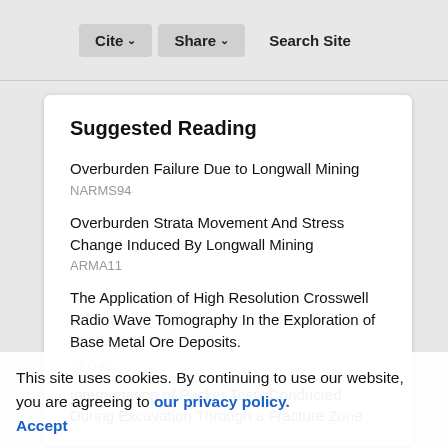Cite | Share | Search Site
Suggested Reading
Overburden Failure Due to Longwall Mining
NARMS94
Overburden Strata Movement And Stress Change Induced By Longwall Mining
ARMA11
The Application of High Resolution Crosswell Radio Wave Tomography In the Exploration of Base Metal Ore Deposits.
SEG96
Interpretation of Packer Tests Conducted During Excavation Through a Fracture Zone
This site uses cookies. By continuing to use our website, you are agreeing to our privacy policy. Accept